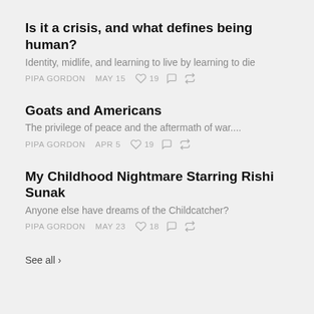Is it a crisis, and what defines being human?
Identity, midlife, and learning to live by learning to die
PIPA GORDON   MAY 15   ♡ 19
Goats and Americans
The privilege of peace and the aftermath of war....
PIPA GORDON   APR 5   ♡ 19
My Childhood Nightmare Starring Rishi Sunak
Anyone else have dreams of the Childcatcher?
PIPA GORDON   MAY 23   ♡ 18
See all ›